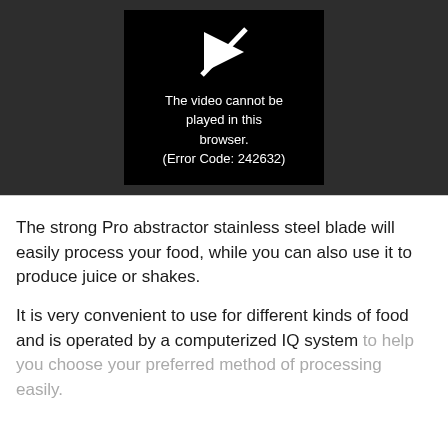[Figure (screenshot): A dark gray video player area containing a centered black box with a broken video/play icon (arrow with a line through it) and the error message: 'The video cannot be played in this browser. (Error Code: 242632)']
The strong Pro abstractor stainless steel blade will easily process your food, while you can also use it to produce juice or shakes.
It is very convenient to use for different kinds of food and is operated by a computerized IQ system to help you choose your preferred method of processing easily.